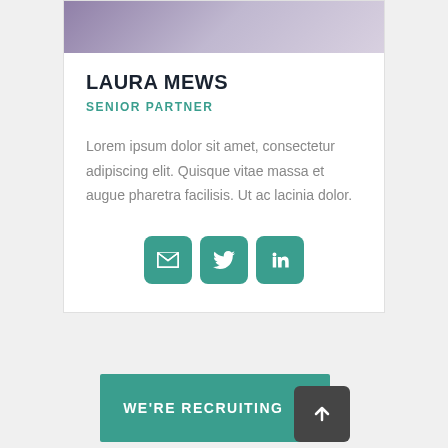[Figure (photo): Partial photo of Laura Mews, showing lower portion of person in purple/dark jacket]
LAURA MEWS
SENIOR PARTNER
Lorem ipsum dolor sit amet, consectetur adipiscing elit. Quisque vitae massa et augue pharetra facilisis. Ut ac lacinia dolor.
[Figure (infographic): Three teal social media icon buttons: email envelope, Twitter bird, LinkedIn 'in']
WE'RE RECRUITING ▶